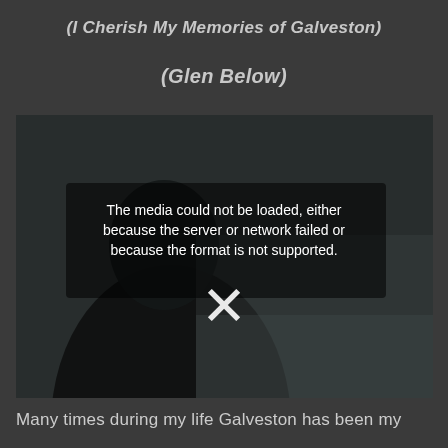(I Cherish My Memories of Galveston)
(Glen Below)
[Figure (photo): A dark silhouette of a person against a dim background, resembling a video player with an error message: 'The media could not be loaded, either because the server or network failed or because the format is not supported.' with an X icon in the center.]
Many times during my life Galveston has been my